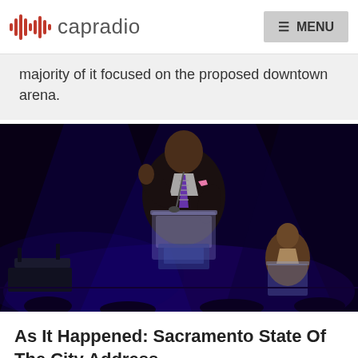capradio  MENU
majority of it focused on the proposed downtown arena.
[Figure (photo): A man in a dark suit with a striped tie and pink pocket square speaks at a clear podium on a stage with blue and purple lighting. A second man in a brown suit is visible at another podium in the background right.]
As It Happened: Sacramento State Of The City Address